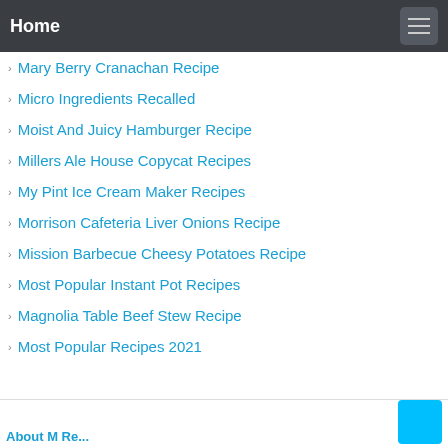Home
Mary Berry Cranachan Recipe
Micro Ingredients Recalled
Moist And Juicy Hamburger Recipe
Millers Ale House Copycat Recipes
My Pint Ice Cream Maker Recipes
Morrison Cafeteria Liver Onions Recipe
Mission Barbecue Cheesy Potatoes Recipe
Most Popular Instant Pot Recipes
Magnolia Table Beef Stew Recipe
Most Popular Recipes 2021